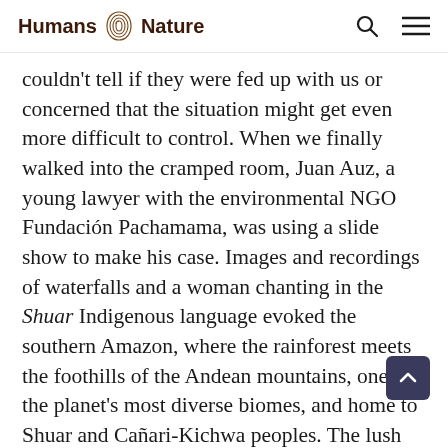Humans Nature
couldn't tell if they were fed up with us or concerned that the situation might get even more difficult to control. When we finally walked into the cramped room, Juan Auz, a young lawyer with the environmental NGO Fundación Pachamama, was using a slide show to make his case. Images and recordings of waterfalls and a woman chanting in the Shuar Indigenous language evoked the southern Amazon, where the rainforest meets the foothills of the Andean mountains, one of the planet's most diverse biomes, and home to Shuar and Cañari-Kichwa peoples. The lush land and soundscape were abruptly interrupted by a display